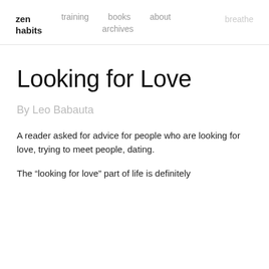zen habits    training    books    about    breathe    archives
Looking for Love
By Leo Babauta
A reader asked for advice for people who are looking for love, trying to meet people, dating.
The “looking for love” part of life is definitely